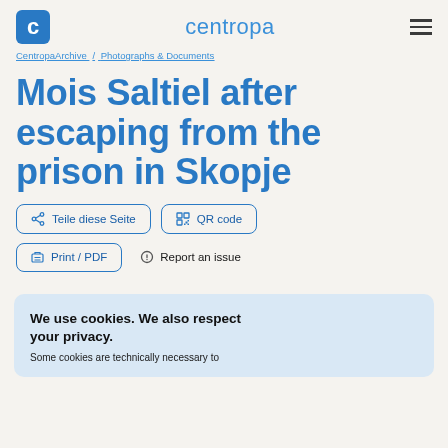centropa
CentropaArchive / Photographs & Documents
Mois Saltiel after escaping from the prison in Skopje
Teile diese Seite   QR code
Print / PDF   Report an issue
We use cookies. We also respect your privacy.